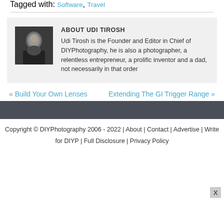Tagged with: Software, Travel
[Figure (photo): Author photo of Udi Tirosh, a man in a dark shirt against a dark background]
ABOUT UDI TIROSH
Udi Tirosh is the Founder and Editor in Chief of DIYPhotography, he is also a photographer, a relentless entrepreneur, a prolific inventor and a dad, not necessarily in that order
« Build Your Own Lenses
Extending The GI Trigger Range »
Copyright © DIYPhotography 2006 - 2022 | About | Contact | Advertise | Write for DIYP | Full Disclosure | Privacy Policy